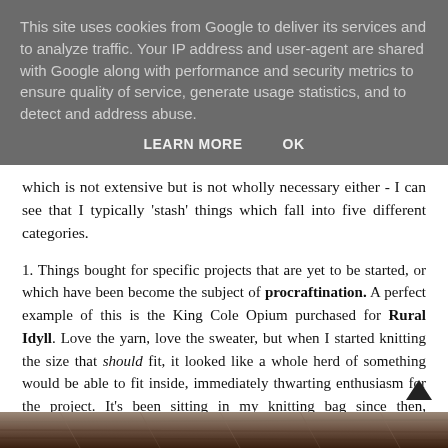This site uses cookies from Google to deliver its services and to analyze traffic. Your IP address and user-agent are shared with Google along with performance and security metrics to ensure quality of service, generate usage statistics, and to detect and address abuse.
LEARN MORE   OK
which is not extensive but is not wholly necessary either - I can see that I typically 'stash' things which fall into five different categories.
1. Things bought for specific projects that are yet to be started, or which have been become the subject of procraftination. A perfect example of this is the King Cole Opium purchased for Rural Idyll. Love the yarn, love the sweater, but when I started knitting the size that should fit, it looked like a whole herd of something would be able to fit inside, immediately thwarting enthusiasm for the project. It's been sitting in my knitting bag since then, untouched.
[Figure (photo): Bottom strip of a photograph showing what appears to be textured yarn or knitting material in brown/dark tones]